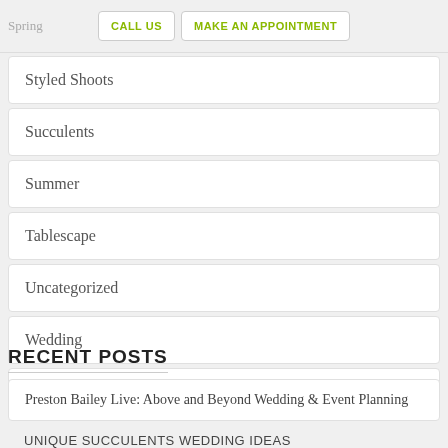Spring | CALL US | MAKE AN APPOINTMENT
Styled Shoots
Succulents
Summer
Tablescape
Uncategorized
Wedding
Wedding trends
RECENT POSTS
Preston Bailey Live: Above and Beyond Wedding & Event Planning
UNIQUE SUCCULENTS WEDDING IDEAS